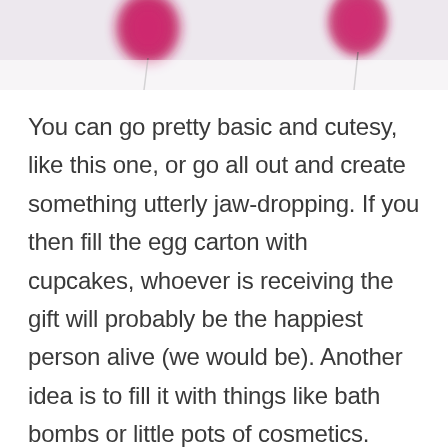[Figure (photo): Decorative banner with blurred pink/magenta balloons on a light grey/white background]
You can go pretty basic and cutesy, like this one, or go all out and create something utterly jaw-dropping. If you then fill the egg carton with cupcakes, whoever is receiving the gift will probably be the happiest person alive (we would be). Another idea is to fill it with things like bath bombs or little pots of cosmetics.